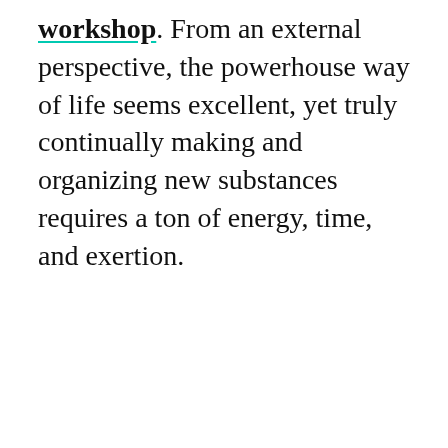workshop. From an external perspective, the powerhouse way of life seems excellent, yet truly continually making and organizing new substances requires a ton of energy, time, and exertion.